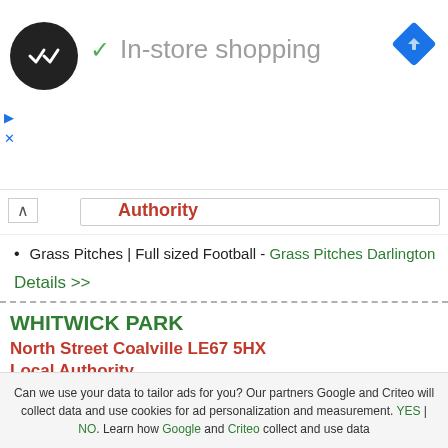[Figure (screenshot): Ad banner with circular logo, checkmark, 'In-store shopping' text, and blue navigation diamond icon]
Authority
Grass Pitches | Full sized Football - Grass Pitches Darlington
Details >>
WHITWICK PARK
North Street Coalville LE67 5HX
Local Authority
Tennis Courts | Tennis Courts - Tennis Courts Coalville
Details >>
Can we use your data to tailor ads for you? Our partners Google and Criteo will collect data and use cookies for ad personalization and measurement. YES | NO. Learn how Google and Criteo collect and use data